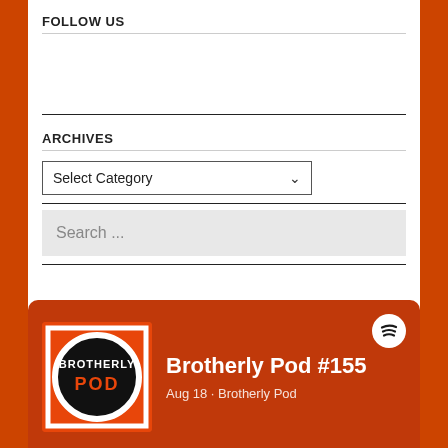FOLLOW US
ARCHIVES
Select Category
Search ...
[Figure (other): Spotify podcast card for Brotherly Pod #155. Shows podcast logo with 'BROTHERLY POD' text on orange/black background, episode title 'Brotherly Pod #155', date 'Aug 18 · Brotherly Pod', and Spotify logo icon.]